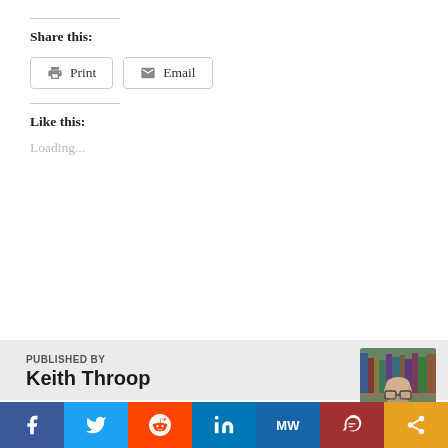Share this:
[Figure (screenshot): Print and Email share buttons]
Like this:
Loading...
PUBLISHED BY
Keith Throop
[Figure (photo): Headshot of Keith Throop, a bald man with glasses]
I am currently serving as the primary teaching elder of Immanuel Baptist Church in
[Figure (infographic): Social sharing bar with Facebook, Twitter, Reddit, LinkedIn, MeWe, Parler, and Share buttons]